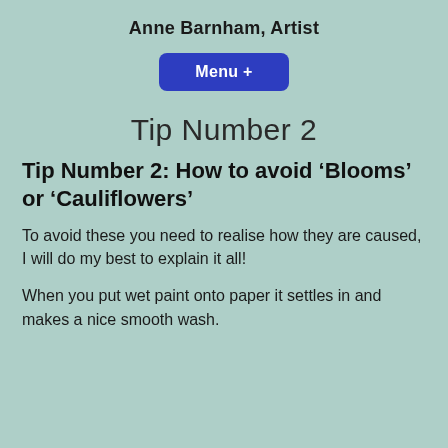Anne Barnham, Artist
[Figure (other): Blue rounded rectangle button labeled 'Menu +']
Tip Number 2
Tip Number 2: How to avoid ‘Blooms’ or ‘Cauliflowers’
To avoid these you need to realise how they are caused, I will do my best to explain it all!
When you put wet paint onto paper it settles in and makes a nice smooth wash.